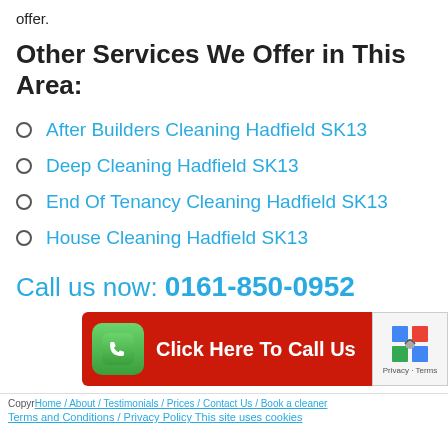offer.
Other Services We Offer in This Area:
After Builders Cleaning Hadfield SK13
Deep Cleaning Hadfield SK13
End Of Tenancy Cleaning Hadfield SK13
House Cleaning Hadfield SK13
Call us now: 0161-850-0952
[Figure (infographic): Red call-to-action button bar with green phone icon and white text 'Click Here To Call Us']
Copyright Home / About / Testimonials / Prices / Contact Us / Book a cleaner Terms and Conditions / Privacy Policy This site uses cookies